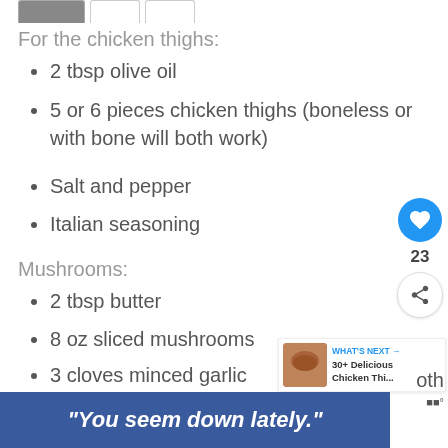[Figure (screenshot): Tab bar with one active (dark) tab and two inactive tabs at top]
For the chicken thighs:
2 tbsp olive oil
5 or 6 pieces chicken thighs (boneless or with bone will both work)
Salt and pepper
Italian seasoning
Mushrooms:
2 tbsp butter
8 oz sliced mushrooms
3 cloves minced garlic
Sauce:
1 tbsp butter
1 tbsp plain flour
[Figure (screenshot): Right sidebar with heart/like button (blue circle, heart icon), count 23, and share button]
[Figure (screenshot): What's Next promo card: image of chicken dish, WHAT'S NEXT arrow, text 30+ Delicious Chicken Thi...]
[Figure (screenshot): Ad banner at bottom: blue background with italic bold white text: "You seem down lately."]